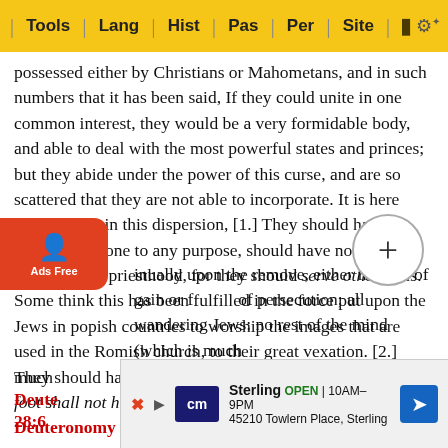Tools | Lang | Hist | Pas | Per | Site
possessed either by Christians or Mahometans, and in such numbers that it has been said, If they could unite in one common interest, they would be a very formidable body, and able to deal with the most powerful states and princes; but they abide under the power of this curse, and are so scattered that they are not able to incorporate. It is here foretold that in this dispersion, [1.] They should have no religion, or none to any purpose, should have no temple, nor altar, nor priesthood, for they should serve other gods. Some think this has been fulfilled in the force put upon the Jews in popish countries to worship the images that are used in the Romish church, to their great vexation. [2.] They should have no rest, no rest of body: The sole of thy foot shall not have rest (Deuteronomy 28:65; Deuteronomy 28:65), but h[+]inually upon the remove, either in hope of gain or f[+]of persecution; all wandering Jews: no rest of the mind (which is much [...]5; Deute[...]y 28:6[...]